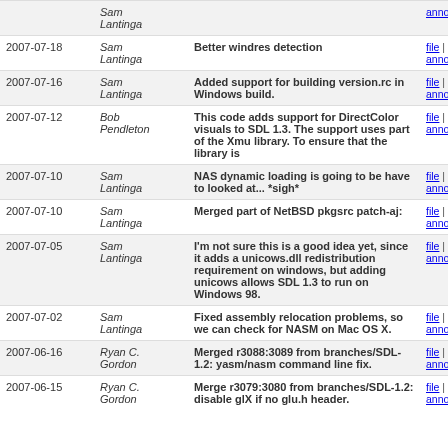| Date | Author | Message | Links |
| --- | --- | --- | --- |
|  | Sam Lantinga |  | annotate |
| 2007-07-18 | Sam Lantinga | Better windres detection | file | diff | annotate |
| 2007-07-16 | Sam Lantinga | Added support for building version.rc in Windows build. | file | diff | annotate |
| 2007-07-12 | Bob Pendleton | This code adds support for DirectColor visuals to SDL 1.3. The support uses part of the Xmu library. To ensure that the library is | file | diff | annotate |
| 2007-07-10 | Sam Lantinga | NAS dynamic loading is going to be have to looked at... *sigh* | file | diff | annotate |
| 2007-07-10 | Sam Lantinga | Merged part of NetBSD pkgsrc patch-aj: | file | diff | annotate |
| 2007-07-05 | Sam Lantinga | I'm not sure this is a good idea yet, since it adds a unicows.dll redistribution requirement on windows, but adding unicows allows SDL 1.3 to run on Windows 98. | file | diff | annotate |
| 2007-07-02 | Sam Lantinga | Fixed assembly relocation problems, so we can check for NASM on Mac OS X. | file | diff | annotate |
| 2007-06-16 | Ryan C. Gordon | Merged r3088:3089 from branches/SDL-1.2: yasm/nasm command line fix. | file | diff | annotate |
| 2007-06-15 | Ryan C. Gordon | Merge r3079:3080 from branches/SDL-1.2: disable glX if no glu.h header. | file | diff | annotate |